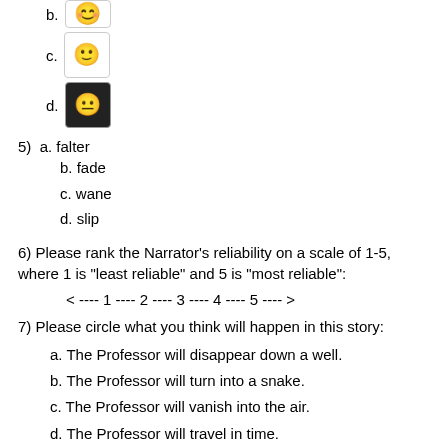b. [emoji: smiling face with smiling eyes - top, cropped]
c. [emoji: slightly smiling face]
d. [emoji: slightly frowning face]
5) a. falter
b. fade
c. wane
d. slip
6) Please rank the Narrator’s reliability on a scale of 1-5, where 1 is “least reliable” and 5 is “most reliable”:
< ---- 1 ---- 2 ---- 3 ---- 4 ---- 5 ---- >
7) Please circle what you think will happen in this story:
a. The Professor will disappear down a well.
b. The Professor will turn into a snake.
c. The Professor will vanish into the air.
d. The Professor will travel in time.
e. The Narrator is the Professor.